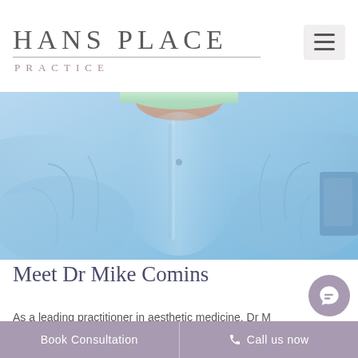HANS PLACE
PRACTICE
[Figure (photo): Close-up photo of a person wearing a light blue surgical/medical gown with a green surgical cap visible at the top. The torso area of the gown is shown in detail.]
Meet Dr Mike Comins
As a leading practitioner in aesthetic medicine, Dr M
Book Consultation    📞 Call us now